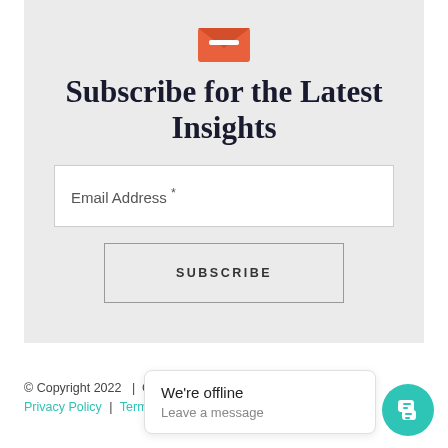[Figure (illustration): Orange envelope icon with a white minus/line across the envelope flap]
Subscribe for the Latest Insights
Email Address *
SUBSCRIBE
© Copyright 2022  |  Coaching 4 Good  |  All Rights Reserved  |  Privacy Policy  |  Terms of Use
We're offline
Leave a message